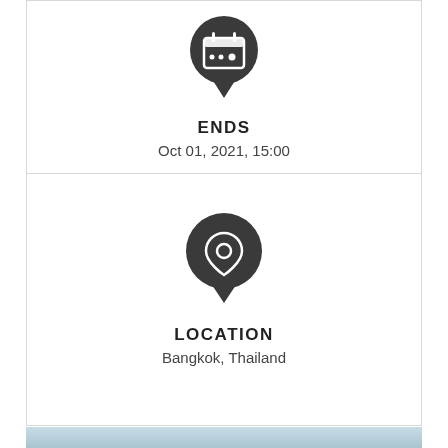[Figure (infographic): Dark circular pin icon with a calendar symbol inside, pointing downward like a map pin]
ENDS
Oct 01, 2021, 15:00
[Figure (infographic): Dark circular pin icon with a location/map pin symbol inside]
LOCATION
Bangkok, Thailand